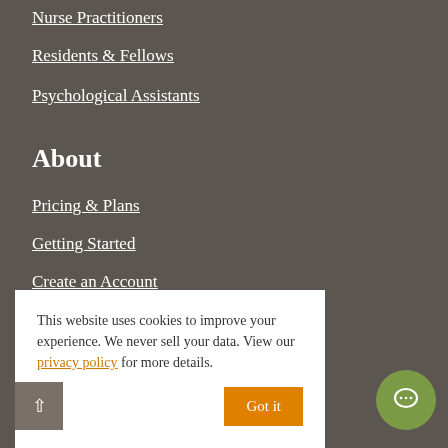Nurse Practitioners
Residents & Fellows
Psychological Assistants
About
Pricing & Plans
Getting Started
Create an Account
Security & Privacy
This website uses cookies to improve your experience. We never sell your data. View our privacy policy for more details.
Got it